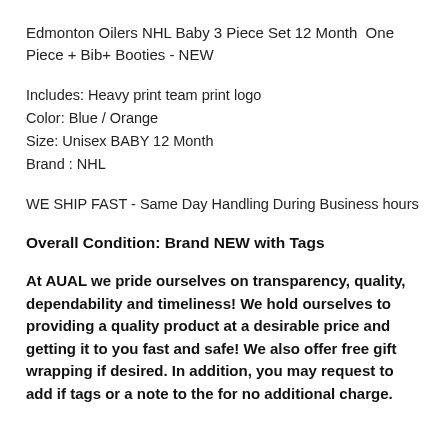Edmonton Oilers NHL Baby 3 Piece Set 12 Month  One Piece + Bib+ Booties - NEW
Includes: Heavy print team print logo
Color: Blue / Orange
Size: Unisex BABY 12 Month
Brand : NHL
WE SHIP FAST - Same Day Handling During Business hours
Overall Condition: Brand NEW with Tags
At AUAL we pride ourselves on transparency, quality, dependability and timeliness! We hold ourselves to providing a quality product at a desirable price and getting it to you fast and safe! We also offer free gift wrapping if desired. In addition, you may request to add gift tags or a note to the for no additional charge.